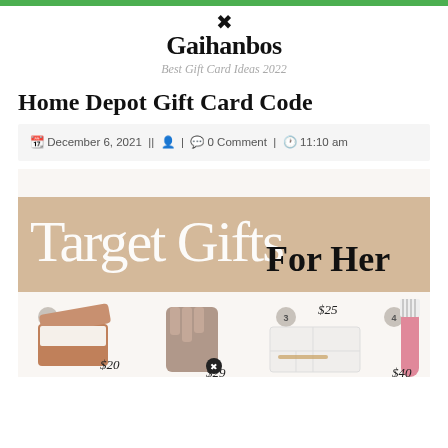Gaihanbos — Best Gift Card Ideas 2022
Home Depot Gift Card Code
December 6, 2021 || 👤 | 💬 0 Comment | 🕐 11:10 am
[Figure (illustration): Target Gifts For Her promotional image showing 4 numbered gift products with prices: 1) jewelry box $20, 2) fuzzy blanket $29, 3) white desk organizer $25, 4) pink toothbrush $40]